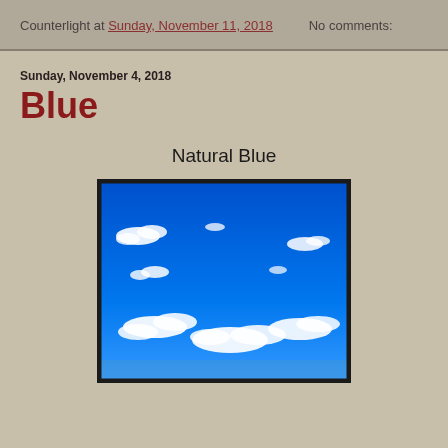Counterlight at Sunday, November 11, 2018   No comments:
Sunday, November 4, 2018
Blue
Natural Blue
[Figure (photo): Photograph of a bright blue sky with scattered white clouds, landscape orientation, black border.]